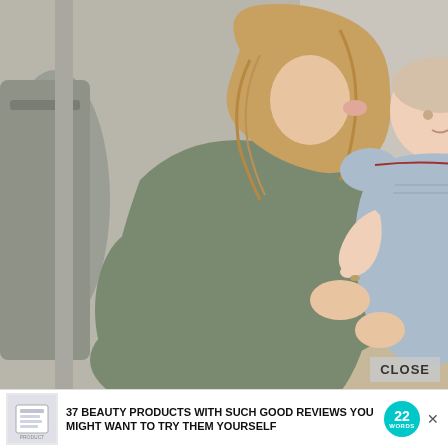[Figure (photo): A woman with long blonde hair wearing an olive/sage green long-sleeve dress crouches down to kiss a baby/toddler on the forehead. The toddler is wearing a light blue smocked dress. The woman is holding the child and appears to be indoors near a staircase. A gray bag is visible on the left.]
CLOSE
37 BEAUTY PRODUCTS WITH SUCH GOOD REVIEWS YOU MIGHT WANT TO TRY THEM YOURSELF